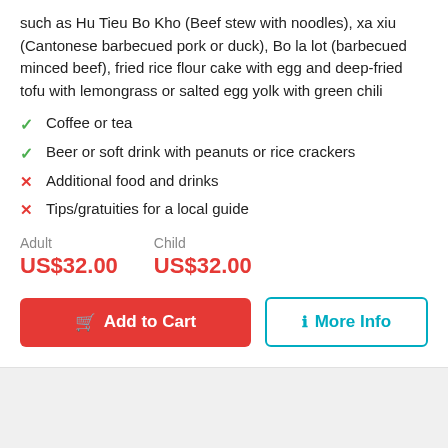such as Hu Tieu Bo Kho (Beef stew with noodles), xa xiu (Cantonese barbecued pork or duck), Bo la lot (barbecued minced beef), fried rice flour cake with egg and deep-fried tofu with lemongrass or salted egg yolk with green chili
Coffee or tea
Beer or soft drink with peanuts or rice crackers
Additional food and drinks
Tips/gratuities for a local guide
| Adult | Child |
| --- | --- |
| US$32.00 | US$32.00 |